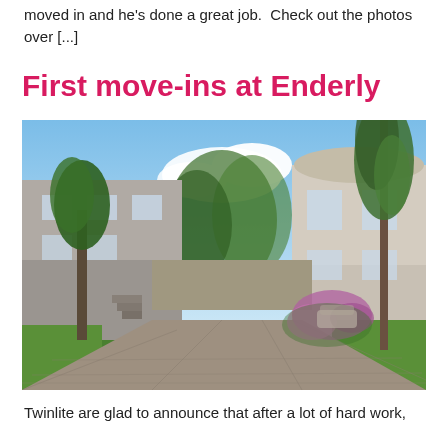moved in and he's done a great job.  Check out the photos over [...]
First move-ins at Enderly
[Figure (photo): Architectural rendering of a residential development at Enderly showing stone-clad houses along a paved driveway flanked by trees and flowering shrubs under a blue sky.]
Twinlite are glad to announce that after a lot of hard work,